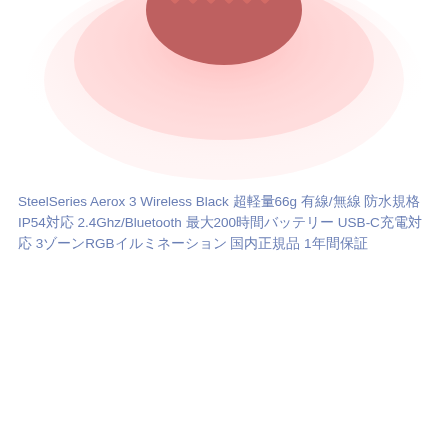[Figure (photo): Top portion of a red SteelSeries Aerox 3 Wireless gaming mouse with honeycomb mesh design, glowing with red/pink RGB light against a white background. Only the upper part of the mouse is visible, cropped at the top of the page.]
SteelSeries Aerox 3 Wireless Black 超軽量66g 有線/無線 防水規格IP54対応 2.4Ghz/Bluetooth 最大200時間バッテリー USB-C充電対応 3ゾーンRGBイルミネーション 国内正規品 1年間保証